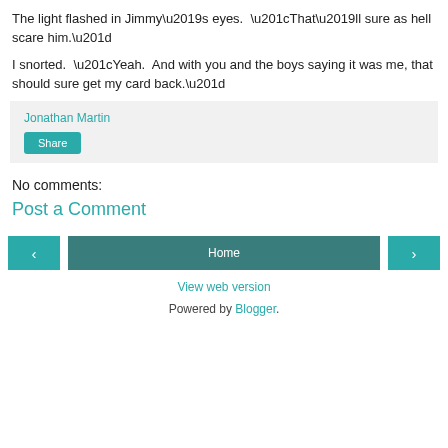The light flashed in Jimmy’s eyes.  “That’ll sure as hell scare him.”
I snorted.  “Yeah.  And with you and the boys saying it was me, that should sure get my card back.”
Jonathan Martin
Share
No comments:
Post a Comment
‹   Home   ›
View web version
Powered by Blogger.